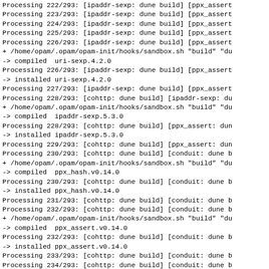Processing 222/293: [ipaddr-sexp: dune build] [ppx_assert
Processing 223/293: [ipaddr-sexp: dune build] [ppx_assert
Processing 224/293: [ipaddr-sexp: dune build] [ppx_assert
Processing 225/293: [ipaddr-sexp: dune build] [ppx_assert
Processing 226/293: [ipaddr-sexp: dune build] [ppx_assert
+ /home/opam/.opam/opam-init/hooks/sandbox.sh "build" "du
-> compiled  uri-sexp.4.2.0
Processing 226/293: [ipaddr-sexp: dune build] [ppx_assert
-> installed uri-sexp.4.2.0
Processing 227/293: [ipaddr-sexp: dune build] [ppx_assert
Processing 228/293: [cohttp: dune build] [ipaddr-sexp: du
+ /home/opam/.opam/opam-init/hooks/sandbox.sh "build" "du
-> compiled  ipaddr-sexp.5.3.0
Processing 228/293: [cohttp: dune build] [ppx_assert: dun
-> installed ipaddr-sexp.5.3.0
Processing 229/293: [cohttp: dune build] [ppx_assert: dun
Processing 230/293: [cohttp: dune build] [conduit: dune b
+ /home/opam/.opam/opam-init/hooks/sandbox.sh "build" "du
-> compiled  ppx_hash.v0.14.0
Processing 230/293: [cohttp: dune build] [conduit: dune b
-> installed ppx_hash.v0.14.0
Processing 231/293: [cohttp: dune build] [conduit: dune b
Processing 232/293: [cohttp: dune build] [conduit: dune b
+ /home/opam/.opam/opam-init/hooks/sandbox.sh "build" "du
-> compiled  ppx_assert.v0.14.0
Processing 232/293: [cohttp: dune build] [conduit: dune b
-> installed ppx_assert.v0.14.0
Processing 233/293: [cohttp: dune build] [conduit: dune b
Processing 234/293: [cohttp: dune build] [conduit: dune b
+ /home/opam/.opam/opam-init/hooks/sandbox.sh "build" "du
-> compiled  ppx_sexp_message.v0.14.1